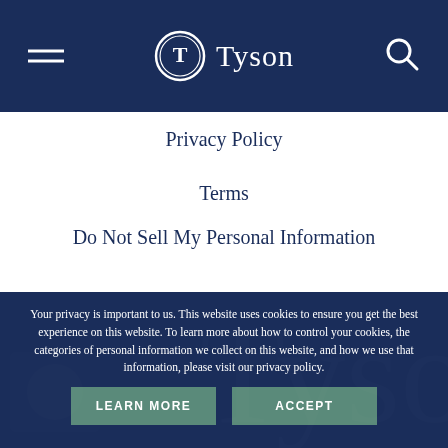Tyson (navigation header with hamburger menu and search icon)
Privacy Policy
Terms
Do Not Sell My Personal Information
Your privacy is important to us. This website uses cookies to ensure you get the best experience on this website. To learn more about how to control your cookies, the categories of personal information we collect on this website, and how we use that information, please visit our privacy policy.
LEARN MORE
ACCEPT